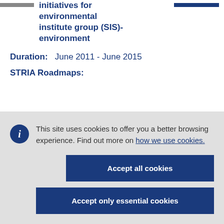initiatives for environmental institute group (SIS)-environment
Duration:   June 2011 - June 2015
STRIA Roadmaps:
This site uses cookies to offer you a better browsing experience. Find out more on how we use cookies.
Accept all cookies
Accept only essential cookies